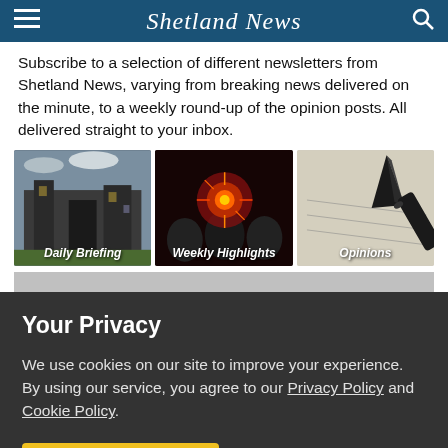Shetland News
Subscribe to a selection of different newsletters from Shetland News, varying from breaking news delivered on the minute, to a weekly round-up of the opinion posts. All delivered straight to your inbox.
[Figure (photo): Three newsletter category images side by side: Daily Briefing (a stone building), Weekly Highlights (people with fireworks), Opinions (a fountain pen on paper)]
Your Privacy
We use cookies on our site to improve your experience.
By using our service, you agree to our Privacy Policy and Cookie Policy.
I'm OK with that